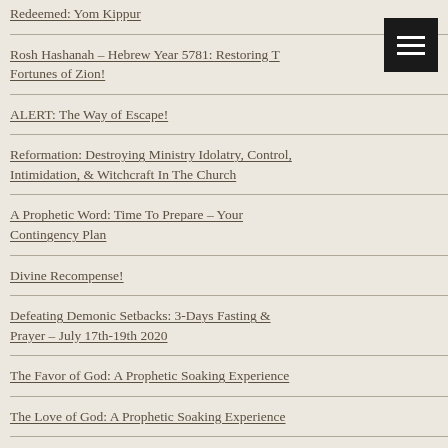Redeemed: Yom Kippur
Rosh Hashanah – Hebrew Year 5781: Restoring The Fortunes of Zion!
ALERT: The Way of Escape!
Reformation: Destroying Ministry Idolatry, Control, Intimidation, & Witchcraft In The Church
A Prophetic Word: Time To Prepare – Your Contingency Plan
Divine Recompense!
Defeating Demonic Setbacks: 3-Days Fasting & Prayer – July 17th-19th 2020
The Favor of God: A Prophetic Soaking Experience
The Love of God: A Prophetic Soaking Experience
Learning To Linger: Rediscovering The Beauty of